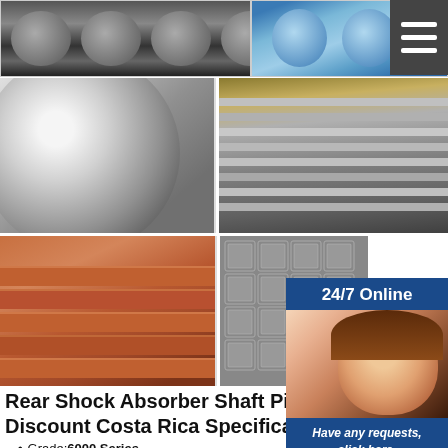[Figure (photo): Top row: three product photos — metal pipes/tubes (grayscale), blue plastic pipes, and a hamburger menu icon on dark background]
[Figure (photo): Middle left: close-up of a shiny aluminum round tube]
[Figure (photo): Middle right: warehouse with stacked aluminum extrusion profiles]
[Figure (photo): Bottom left: stack of copper/red square aluminum extrusion profiles]
[Figure (photo): Bottom center: stack of square steel/aluminum tubes with grid cross-section]
[Figure (photo): Side panel: 24/7 Online customer service representative with headset, smiling]
Rear Shock Absorber Shaft Pist Discount Costa Rica Specificati
Grade:6000 Series
Shape:Square,mickey mouse,compact,r shapes
Surface Treatment:Anodized
Length:Per requirement